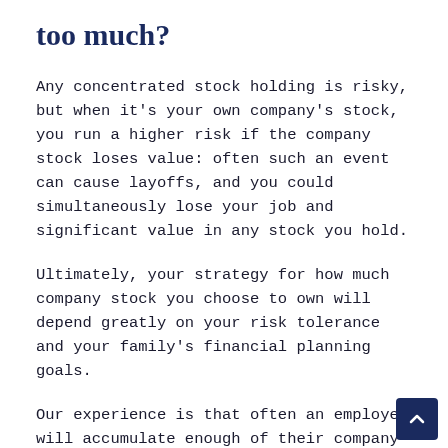too much?
Any concentrated stock holding is risky, but when it's your own company's stock, you run a higher risk if the company stock loses value: often such an event can cause layoffs, and you could simultaneously lose your job and significant value in any stock you hold.
Ultimately, your strategy for how much company stock you choose to own will depend greatly on your risk tolerance and your family's financial planning goals.
Our experience is that often an employee will accumulate enough of their company stock to begin feeling anxious about it.  At this point, they become interested in protecting what they already have, and diversification becomes part of the conversation.